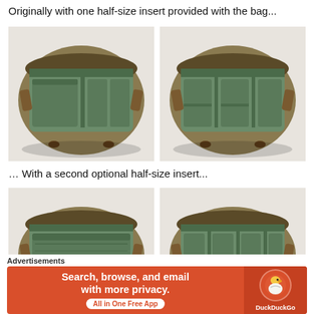Originally with one half-size insert provided with the bag...
[Figure (photo): Two top-down photos of an open camera bag with green padded divider inserts — one insert configuration shown in each photo]
… With a second optional half-size insert...
[Figure (photo): Two top-down photos of an open camera bag — left photo shows bag without dividers (flat insert), right photo shows bag with full set of padded green dividers]
Advertisements
[Figure (screenshot): DuckDuckGo advertisement banner: orange background with text 'Search, browse, and email with more privacy. All in One Free App' and DuckDuckGo duck logo on the right]